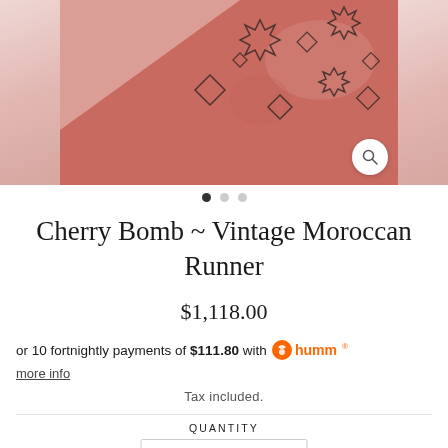[Figure (photo): Close-up photo of a vintage Moroccan runner rug with pink/coral background and dark geometric diamond and star patterns. A magnifying glass zoom icon appears in the bottom right of the image.]
Cherry Bomb ~ Vintage Moroccan Runner
$1,118.00
or 10 fortnightly payments of $111.80 with humm®
more info
Tax included.
QUANTITY